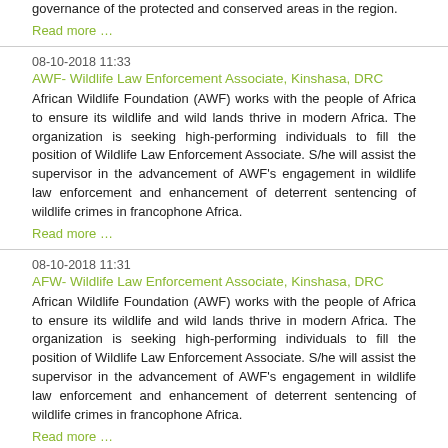governance of the protected and conserved areas in the region.
Read more …
08-10-2018 11:33
AWF- Wildlife Law Enforcement Associate, Kinshasa, DRC
African Wildlife Foundation (AWF) works with the people of Africa to ensure its wildlife and wild lands thrive in modern Africa. The organization is seeking high-performing individuals to fill the position of Wildlife Law Enforcement Associate. S/he will assist the supervisor in the advancement of AWF's engagement in wildlife law enforcement and enhancement of deterrent sentencing of wildlife crimes in francophone Africa.
Read more …
08-10-2018 11:31
AFW- Wildlife Law Enforcement Associate, Kinshasa, DRC
African Wildlife Foundation (AWF) works with the people of Africa to ensure its wildlife and wild lands thrive in modern Africa. The organization is seeking high-performing individuals to fill the position of Wildlife Law Enforcement Associate. S/he will assist the supervisor in the advancement of AWF's engagement in wildlife law enforcement and enhancement of deterrent sentencing of wildlife crimes in francophone Africa.
Read more …
08-10-2018 11:28
AFW-Senior Community Project Officer . Location: Mkomazi, Tanzania
African Wildlife Foundation (AWF) is seeking a high-performing individuals to fill the position of Senior Community Project Officer (SCDO). She/he will be responsible for working with different stakeholders to assist local communities living around Mkomazi National Park in the Tsavo-Mkomazi landscape to implement AWF's project, Strengthening community engagement in anti-poaching operations and reducing human-wildlife conflicts in the cross-border